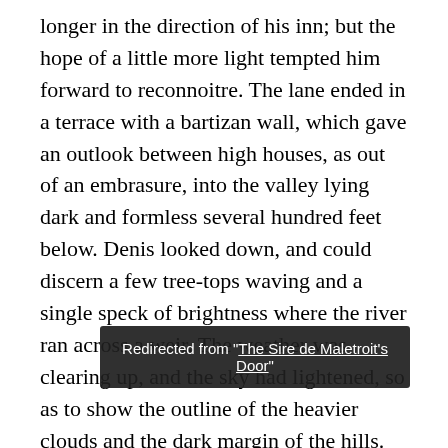longer in the direction of his inn; but the hope of a little more light tempted him forward to reconnoitre. The lane ended in a terrace with a bartizan wall, which gave an outlook between high houses, as out of an embrasure, into the valley lying dark and formless several hundred feet below. Denis looked down, and could discern a few tree-tops waving and a single speck of brightness where the river ran across a weir. The weather was clearing up, and the sky had lightened, so as to show the outline of the heavier clouds and the dark margin of the hills. By the uncertain glimmer, the house on his left hand should be a place of some pretensions; it was surmounted by several pinnacles and turret-tops; the round stern of a chapel, with a fringe of flying buttresses, projected boldly from the main block; and the door was sheltered under a deep porch carv s. The windows of the chapel gleamed through their intricate
Redirected from "The Sire de Maletroit's Door"